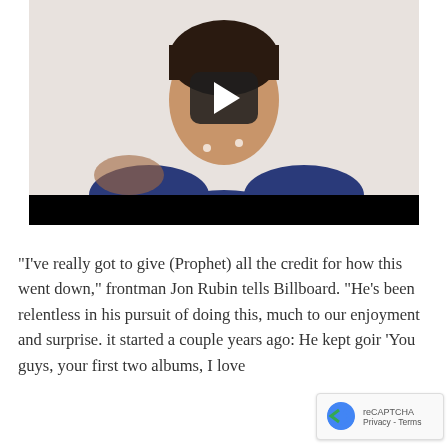[Figure (screenshot): Video thumbnail showing a person in a blue polo shirt with a dark play button overlay in the center, with a black bar at the bottom of the video player.]
"I've really got to give (Prophet) all the credit for how this went down," frontman Jon Rubin tells Billboard. "He's been relentless in his pursuit of doing this, much to our enjoyment and surprise. it started a couple years ago: He kept goin 'You guys, your first two albums, I love